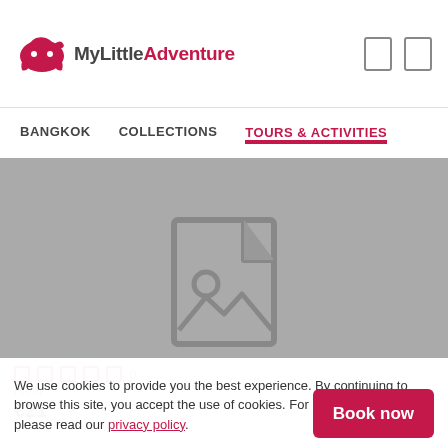MyLittleAdventure
BANGKOK   COLLECTIONS   TOURS & ACTIVITIES
[Figure (photo): Broken/placeholder image icon on grey background]
0
From
€21
We use cookies to provide you the best experience. By continuing to browse this site, you accept the use of cookies. For more information, please read our privacy policy.
Book now